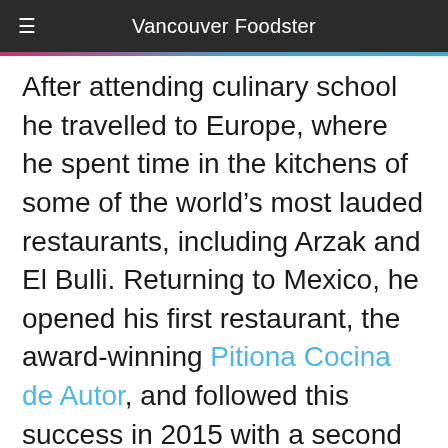Vancouver Foodster
After attending culinary school he travelled to Europe, where he spent time in the kitchens of some of the world’s most lauded restaurants, including Arzak and El Bulli. Returning to Mexico, he opened his first restaurant, the award-winning Pitiona Cocina de Autor, and followed this success in 2015 with a second venture, Aguamiel, a traditional Oaxacan tlayudería. Homer Street Cafe and Bar’s Chef Tret Jordan will host Chef Baños on December 8th, 9th, and 10th.